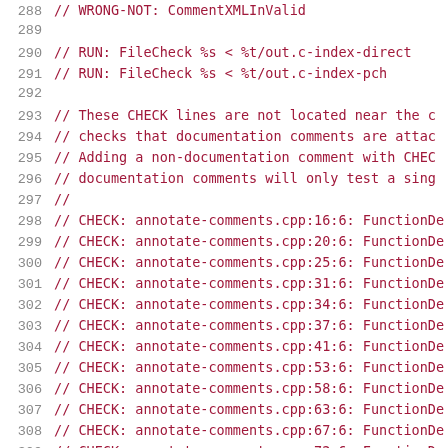Source code listing lines 288-309 with C++ comments including RUN and CHECK directives for FileCheck testing of annotate-comments.cpp
288: // WRONG-NOT: CommentXMLInvalid
289: (empty)
290: // RUN: FileCheck %s < %t/out.c-index-direct
291: // RUN: FileCheck %s < %t/out.c-index-pch
292: (empty)
293: // These CHECK lines are not located near the c
294: // checks that documentation comments are attac
295: // Adding a non-documentation comment with CHEC
296: // documentation comments will only test a sing
297: //
298: // CHECK: annotate-comments.cpp:16:6: FunctionDe
299: // CHECK: annotate-comments.cpp:20:6: FunctionDe
300: // CHECK: annotate-comments.cpp:25:6: FunctionDe
301: // CHECK: annotate-comments.cpp:31:6: FunctionDe
302: // CHECK: annotate-comments.cpp:34:6: FunctionDe
303: // CHECK: annotate-comments.cpp:37:6: FunctionDe
304: // CHECK: annotate-comments.cpp:41:6: FunctionDe
305: // CHECK: annotate-comments.cpp:53:6: FunctionDe
306: // CHECK: annotate-comments.cpp:58:6: FunctionDe
307: // CHECK: annotate-comments.cpp:63:6: FunctionDe
308: // CHECK: annotate-comments.cpp:67:6: FunctionDe
309: // CHECK: annotate-comments.cpp:72:6: FunctionDe